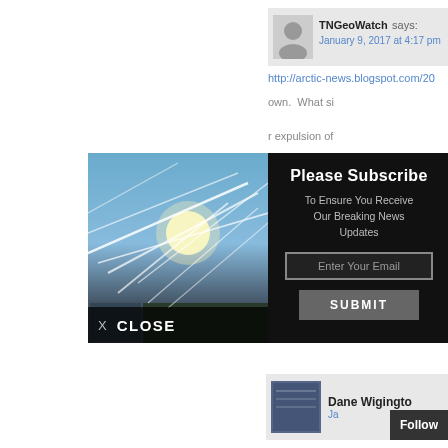[Figure (screenshot): Comment block showing TNGeoWatch commenter with avatar, name, and timestamp January 9, 2017 at 4:17 pm, plus partial link and partial text lines on the right side of page]
[Figure (screenshot): Newsletter subscribe modal popup over a photo of chemtrails in the sky. Contains title 'Please Subscribe', subtitle 'To Ensure You Receive Our Breaking News Updates', email input field, SUBMIT button, and X CLOSE button at bottom left. Background shows blue sky with intersecting white contrail streaks.]
[Figure (screenshot): Bottom partial comment block showing Dane Wigington avatar and name with partial date text, and a Follow button on the right]